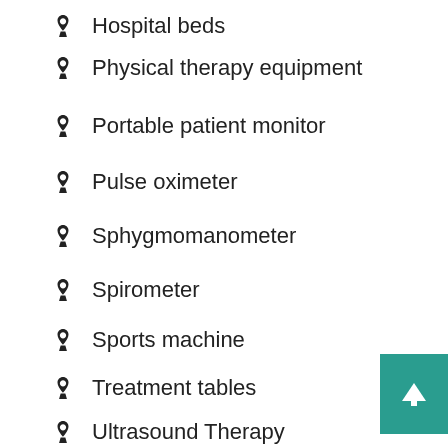Hospital beds
Physical therapy equipment
Portable patient monitor
Pulse oximeter
Sphygmomanometer
Spirometer
Sports machine
Treatment tables
Ultrasound Therapy
Vascular dopplers